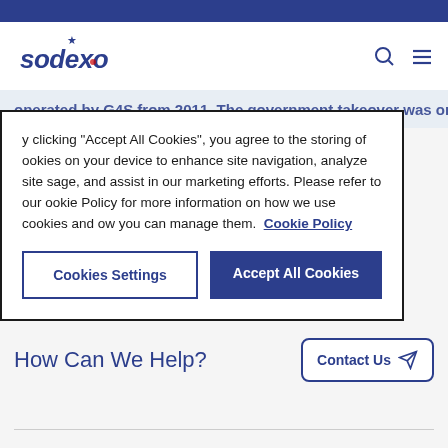[Figure (logo): Sodexo logo with star above the 'o' in dark blue italic text]
operated by G4S from 2011. The government takeover was originally planned to be temporary
y clicking “Accept All Cookies”, you agree to the storing of ookies on your device to enhance site navigation, analyze site sage, and assist in our marketing efforts. Please refer to our ookie Policy for more information on how we use cookies and ow you can manage them.  Cookie Policy
Cookies Settings
Accept All Cookies
[Figure (logo): Sodexo footer logo in blue italic text]
How Can We Help?
Contact Us